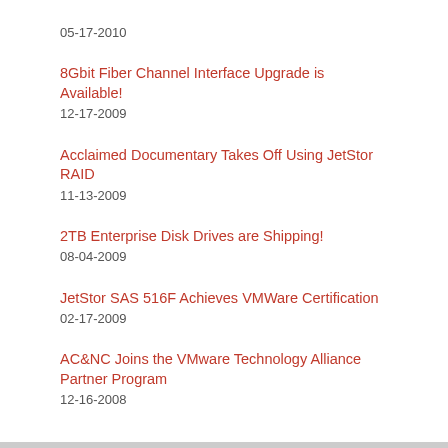05-17-2010
8Gbit Fiber Channel Interface Upgrade is Available!
12-17-2009
Acclaimed Documentary Takes Off Using JetStor RAID
11-13-2009
2TB Enterprise Disk Drives are Shipping!
08-04-2009
JetStor SAS 516F Achieves VMWare Certification
02-17-2009
AC&NC Joins the VMware Technology Alliance Partner Program
12-16-2008